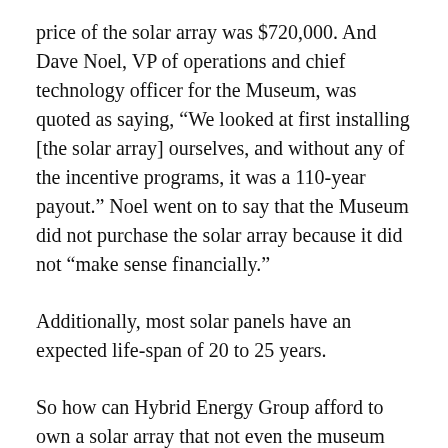price of the solar array was $720,000. And Dave Noel, VP of operations and chief technology officer for the Museum, was quoted as saying, “We looked at first installing [the solar array] ourselves, and without any of the incentive programs, it was a 110-year payout.” Noel went on to say that the Museum did not purchase the solar array because it did not “make sense financially.”
Additionally, most solar panels have an expected life-span of 20 to 25 years.
So how can Hybrid Energy Group afford to own a solar array that not even the museum would buy? In part, HEG gets “rebates” from Xcel’s “Solar Rewards” program. The Solar Rewards program is a response to Colorado voters passing Amendment 37 in 2004. The Amendment mandated that Colorado utilities...